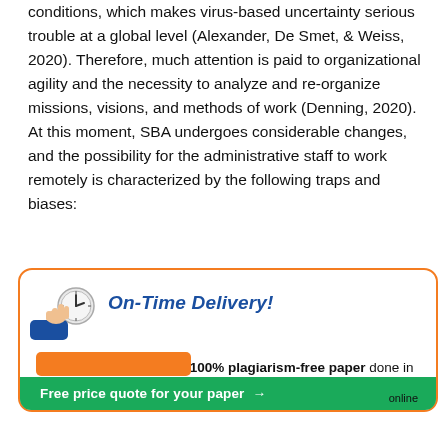conditions, which makes virus-based uncertainty serious trouble at a global level (Alexander, De Smet, & Weiss, 2020). Therefore, much attention is paid to organizational agility and the necessity to analyze and re-organize missions, visions, and methods of work (Denning, 2020). At this moment, SBA undergoes considerable changes, and the possibility for the administrative staff to work remotely is characterized by the following traps and biases:
[Figure (infographic): Advertisement box with orange border. Contains a hand holding a clock icon, bold blue italic text 'On-Time Delivery!', body text 'Get your customized and 100% plagiarism-free paper done in as little as 3 hours', an orange button, and a green bar at the bottom reading 'Free price quote for your paper →' with 'online' text on the right.]